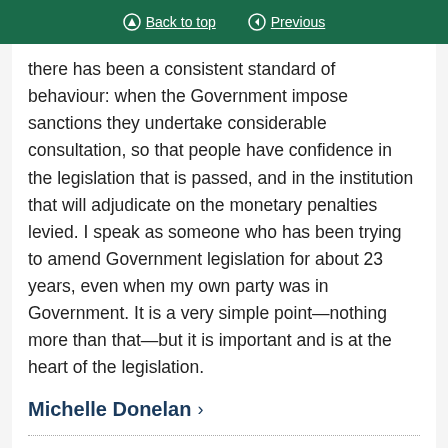Back to top | Previous
there has been a consistent standard of behaviour: when the Government impose sanctions they undertake considerable consultation, so that people have confidence in the legislation that is passed, and in the institution that will adjudicate on the monetary penalties levied. I speak as someone who has been trying to amend Government legislation for about 23 years, even when my own party was in Government. It is a very simple point—nothing more than that—but it is important and is at the heart of the legislation.
Michelle Donelan
Under the amendment, that the monetary penalty